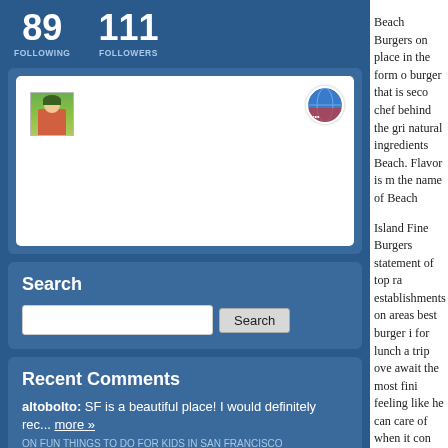89 FOLLOWING   111 FOLLOWERS
[Figure (screenshot): Profile card with user thumbnail and globe icon on white card with rounded corners]
Search
Search input and button
Recent Comments
altobolto: SF is a beautiful place! I would definitely rec... more »
ON FUN THINGS TO DO FOR KIDS IN SAN FRANCISCO
Beach Burgers on place in the form o burger that is seco chef behind the gri natural ingredients Beach. Flavor is m the name of Beach
Island Fine Burgers statement of top ra establishments on areas best burger i for lunch a trip ove await the most fini feeling like he can care of when it con Whatever your cho
A trip to any of these With a taste of a gr want to see again.
More informat